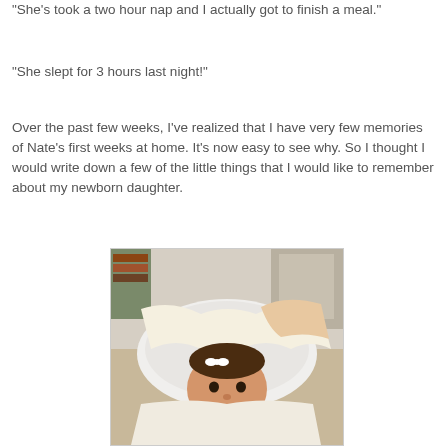"She's took a two hour nap and I actually got to finish a meal."
"She slept for 3 hours last night!"
Over the past few weeks, I've realized that I have very few memories of Nate's first weeks at home. It's now easy to see why. So I thought I would write down a few of the little things that I would like to remember about my newborn daughter.
[Figure (photo): A newborn baby wrapped in a cream/white blanket inside what appears to be a baby tub, looking at the camera with a serious expression. The baby has a small white bow on her head.]